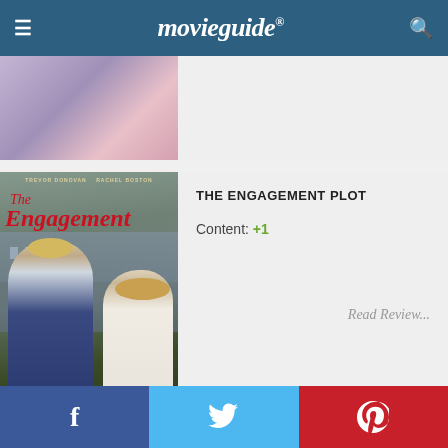movieguide®
[Figure (photo): Partially visible movie card at top of page, showing a cropped movie poster image with pink/purple tones]
THE ENGAGEMENT PLOT
Content: +1
Read Review...
[Figure (photo): The Engagement Plot movie poster featuring Trevor Donovan and Rachel Boston, with red cursive title text and couple embracing in front of a castle building]
[Figure (photo): Partially visible next card at bottom of page]
f  (Facebook share button)  Twitter share button  Pinterest share button